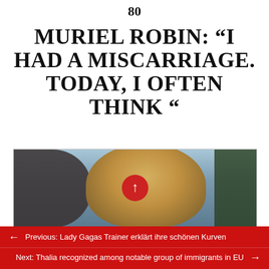80
MURIEL ROBIN: “I HAD A MISCARRIAGE. TODAY, I OFTEN THINK “
[Figure (photo): Two people photographed together, one with short blonde hair in the center, another dark-haired person to the left, green foliage visible on the right. A red circular up-arrow button overlays the center of the image.]
Previous: Lady Gagas Trainer erklärt ihre schönen Kurven
Next: Thalia recognized among notable group of immigrants in EU